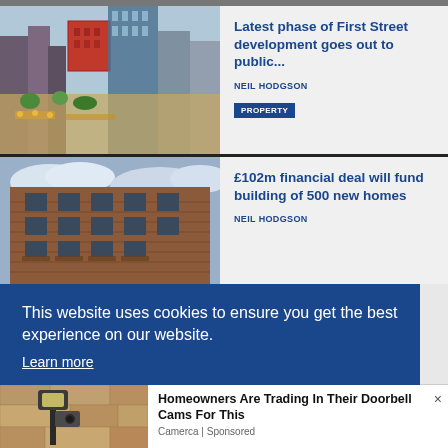[Figure (photo): Partial top strip showing bottom of a photo]
[Figure (photo): City development with modern buildings including a red cube structure and outdoor plaza with people]
Latest phase of First Street development goes out to public...
NEIL HODGSON
PROPERTY
[Figure (photo): Brick apartment building photographed from below against cloudy sky]
£102m financial deal will fund building of 500 new homes
NEIL HODGSON
This website uses cookies to ensure you get the best experience on our website. Learn more
[Figure (photo): Close-up of an outdoor wall lamp/security camera on a stone wall]
Homeowners Are Trading In Their Doorbell Cams For This
Camerca | Sponsored